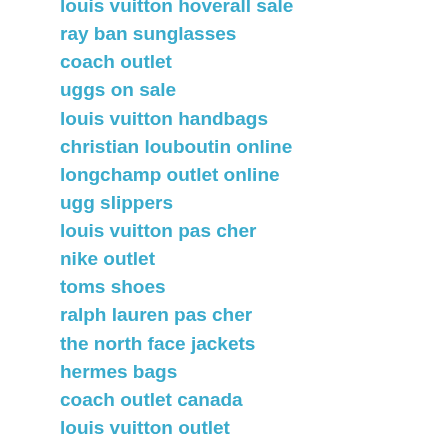louis vuitton hoverall sale
ray ban sunglasses
coach outlet
uggs on sale
louis vuitton handbags
christian louboutin online
longchamp outlet online
ugg slippers
louis vuitton pas cher
nike outlet
toms shoes
ralph lauren pas cher
the north face jackets
hermes bags
coach outlet canada
louis vuitton outlet
montblanc pens
michael kors outlet online
ugg boots clearance
michael kors handbags
lacoste pas cher
gucci outlet online
ralph lauren polo